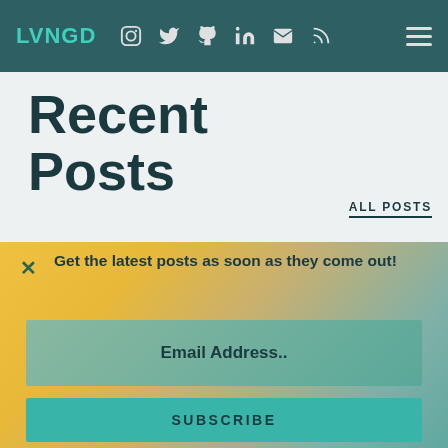LVNGD
Recent Posts
ALL POSTS
[Figure (photo): Three blurred/faded thumbnail photos of bags/clothing items displayed in a horizontal strip]
Get the latest posts as soon as they come out!
Email Address..
SUBSCRIBE